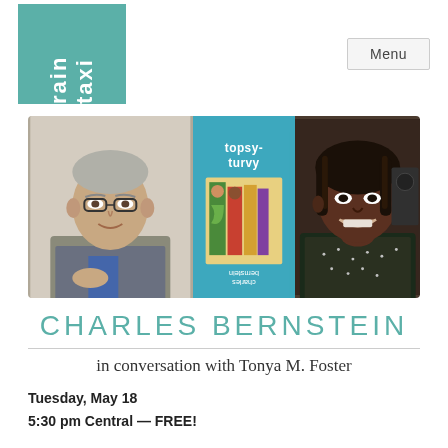[Figure (logo): Rain Taxi logo: teal/green square with white vertical text 'rain taxi']
[Figure (photo): Three-panel image strip: left panel shows older white man with glasses gesturing (Charles Bernstein); center panel shows book cover 'topsy-turvy' by charles bernstein on teal background with colorful artwork; right panel shows Black woman smiling (Tonya M. Foster)]
CHARLES BERNSTEIN
in conversation with Tonya M. Foster
Tuesday, May 18
5:30 pm Central — FREE!